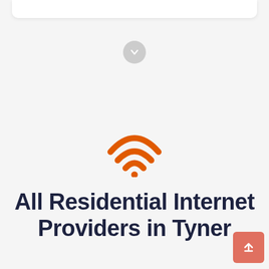[Figure (illustration): White card element at top of page]
[Figure (illustration): Gray circular download/scroll-down arrow button]
[Figure (illustration): Orange WiFi signal icon with three arcs and a dot]
All Residential Internet Providers in Tyner
[Figure (illustration): Salmon/pink back-to-top button with upward arrow icon in bottom right corner]